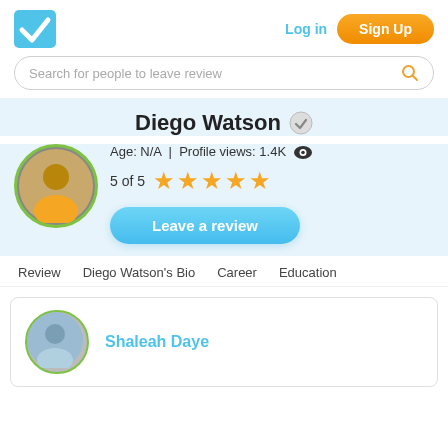Log in  Sign Up
Search for people to leave review
Diego Watson
Age: N/A  |  Profile views: 1.4K
5 of 5 ★★★★★
Leave a review
Review  Diego Watson's Bio  Career  Education
Shaleah Daye